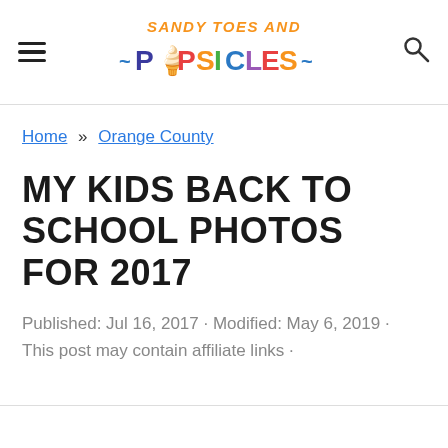Sandy Toes and Popsicles
Home » Orange County
MY KIDS BACK TO SCHOOL PHOTOS FOR 2017
Published: Jul 16, 2017 · Modified: May 6, 2019 · This post may contain affiliate links ·